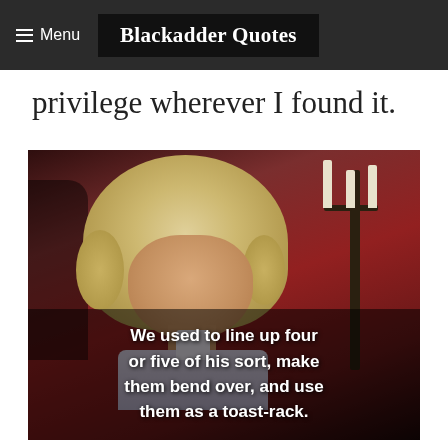Menu | Blackadder Quotes
privilege wherever I found it.
[Figure (photo): A man in an 18th-century curly blonde wig and period costume (from the TV show Blackadder) with a candlestick holder visible in the background. Subtitle text reads: 'We used to line up four or five of his sort, make them bend over, and use them as a toast-rack.']
We used to line up four or five of his sort, make them bend over, and use them as a toast-rack.